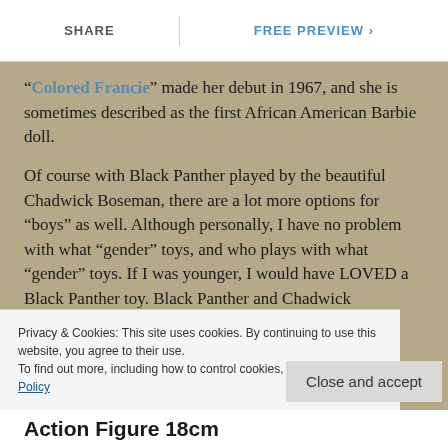SHARE | FREE PREVIEW >
“Colored Francie” made her debut in 1967, and she is sometimes described as the first African American Barbie doll.
Of course with Black Panther played by the beautiful Chadwick Boseman, there are a lot more options for “boys” as well. Although personally, I have no problem with what “gender” toys, and who plays with what “gender” toys. If I was younger, I would have LOVED a Black Panther toy. Black Panther and Chadwick
Privacy & Cookies: This site uses cookies. By continuing to use this website, you agree to their use.
To find out more, including how to control cookies, see here: Cookie Policy
Close and accept
Action Figure 18cm